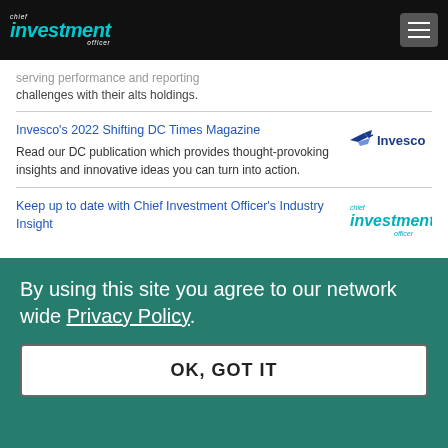chief investment officer
serving performance and reporting challenges with their alts holdings.
Invesco's 2022 Shifting DC Times Magazine
Read our DC publication which provides thought-provoking insights and innovative ideas you can turn into action.
[Figure (logo): Invesco logo with airplane icon]
Keep up to date with Chief Investment Officer's Industry Insight
[Figure (logo): Chief Investment Officer logo in teal/cyan]
By using this site you agree to our network wide Privacy Policy.
OK, GOT IT